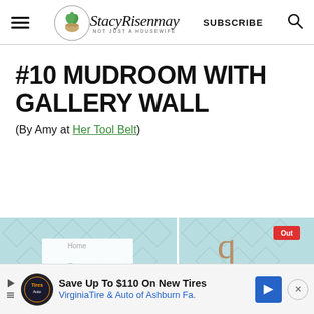StacyRisenmay - Not Just A Housewife | SUBSCRIBE
#10 MUDROOM WITH GALLERY WALL
(By Amy at Her Tool Belt)
[Figure (photo): Two side-by-side photos of a mudroom with gallery wall featuring teal geometric patterned wallpaper, decorative letters and signs including 'THINGS']
[Figure (infographic): Advertisement banner: Save Up To $110 On New Tires - VirginiaTire & Auto of Ashburn Fa.]